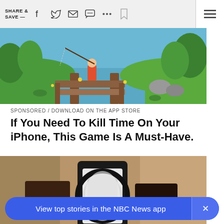SHARE & SAVE —
[Figure (screenshot): Colorful 3D fishing game screenshot showing a character on a wooden dock surrounded by water, green grass and trees]
SPONSORED / DOWNLOAD ON THE APP STORE
If You Need To Kill Time On Your iPhone, This Game Is A Must-Have.
[Figure (screenshot): Close-up blurry image of what appears to be a camera or gun scope, brownish tones]
View top stories in the NBC News app